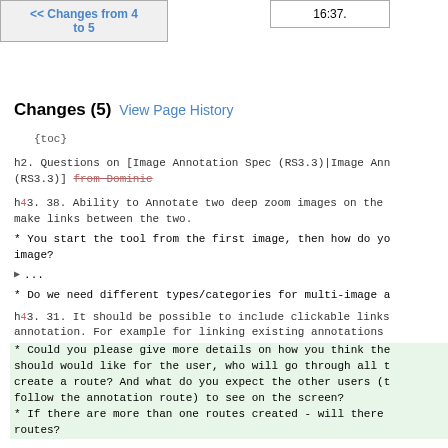[Figure (other): Navigation link button: << Changes from 4 to 5]
[Figure (other): Time display box showing 16:37.]
Changes (5) View Page History
{toc}
h2. Questions on [Image Annotation Spec (RS3.3)|Image Ann (RS3.3)] from Dominic
h43. 38. Ability to Annotate two deep zoom images on the make links between the two.
* You start the tool from the first image, then how do yo image?
...
* Do we need different types/categories for multi-image a
h43. 31. It should be possible to include clickable links annotation. For example for linking existing annotations
* Could you please give more details on how you think the should would like for the user, who will go through all t create a route? And what do you expect the other users (t follow the annotation route) to see on the screen?
* If there are more than one routes created - will there routes?
h3. Annotation Categories